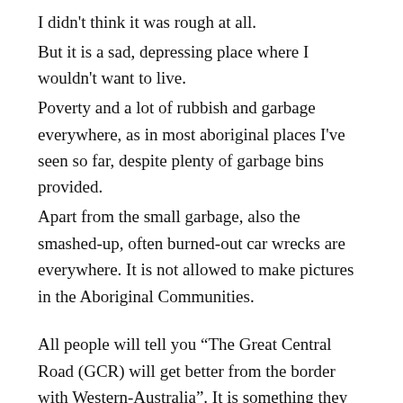I didn't think it was rough at all.
But it is a sad, depressing place where I wouldn't want to live.
Poverty and a lot of rubbish and garbage everywhere, as in most aboriginal places I've seen so far, despite plenty of garbage bins provided.
Apart from the small garbage, also the smashed-up, often burned-out car wrecks are everywhere. It is not allowed to make pictures in the Aboriginal Communities.
All people will tell you “The Great Central Road (GCR) will get better from the border with Western-Australia”. It is something they hear, and what is just being repeated.
It does not get better.
The first 97 km I drove here were not particularly disappointing